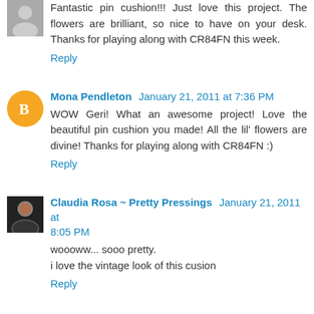Fantastic pin cushion!!! Just love this project. The flowers are brilliant, so nice to have on your desk. Thanks for playing along with CR84FN this week.
Reply
Mona Pendleton January 21, 2011 at 7:36 PM
WOW Geri! What an awesome project! Love the beautiful pin cushion you made! All the lil' flowers are divine! Thanks for playing along with CR84FN :)
Reply
Claudia Rosa ~ Pretty Pressings January 21, 2011 at 8:05 PM
woooww... sooo pretty.
i love the vintage look of this cusion
Reply